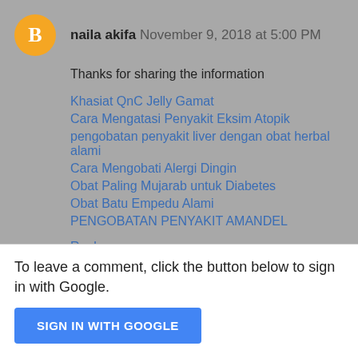naila akifa  November 9, 2018 at 5:00 PM
Thanks for sharing the information
Khasiat QnC Jelly Gamat
Cara Mengatasi Penyakit Eksim Atopik
pengobatan penyakit liver dengan obat herbal alami
Cara Mengobati Alergi Dingin
Obat Paling Mujarab untuk Diabetes
Obat Batu Empedu Alami
PENGOBATAN PENYAKIT AMANDEL
Reply
To leave a comment, click the button below to sign in with Google.
SIGN IN WITH GOOGLE